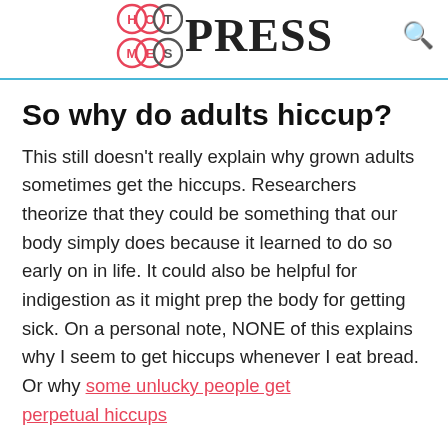HotMessPress
So why do adults hiccup?
This still doesn't really explain why grown adults sometimes get the hiccups. Researchers theorize that they could be something that our body simply does because it learned to do so early on in life. It could also be helpful for indigestion as it might prep the body for getting sick. On a personal note, NONE of this explains why I seem to get hiccups whenever I eat bread. Or why some unlucky people get perpetual hiccups